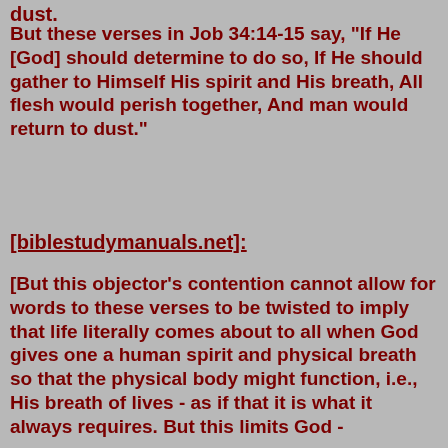dust.
But these verses in Job 34:14-15 say, "If He [God] should determine to do so, If He should gather to Himself His spirit and His breath, All flesh would perish together, And man would return to dust."
[biblestudymanuals.net]:
[But this objector's contention cannot allow for words to these verses to be twisted to imply that life literally comes about to all when God gives one a human spirit and physical breath so that the physical body might function, i.e., His breath of lives - as if that it is what it always requires. But this limits God -